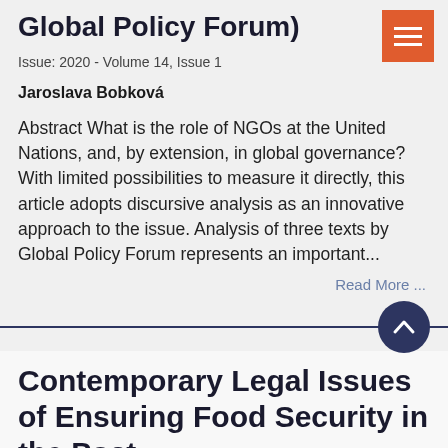Global Policy Forum)
Issue: 2020 - Volume 14, Issue 1
Jaroslava Bobková
Abstract What is the role of NGOs at the United Nations, and, by extension, in global governance? With limited possibilities to measure it directly, this article adopts discursive analysis as an innovative approach to the issue. Analysis of three texts by Global Policy Forum represents an important...
Read More ...
Contemporary Legal Issues of Ensuring Food Security in the Post-